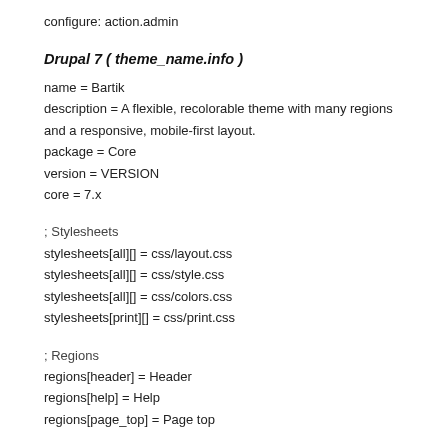configure: action.admin
Drupal 7 ( theme_name.info )
name = Bartik
description = A flexible, recolorable theme with many regions and a responsive, mobile-first layout.
package = Core
version = VERSION
core = 7.x
; Stylesheets
stylesheets[all][] = css/layout.css
stylesheets[all][] = css/style.css
stylesheets[all][] = css/colors.css
stylesheets[print][] = css/print.css
; Regions
regions[header] = Header
regions[help] = Help
regions[page_top] = Page top